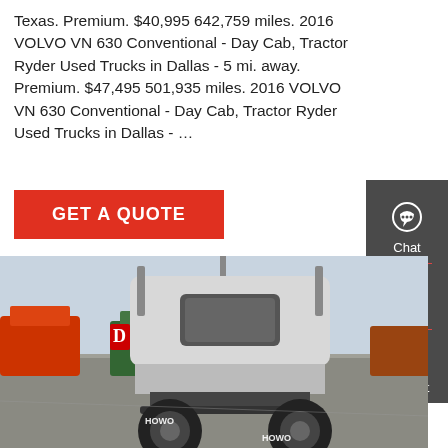Texas. Premium. $40,995 642,759 miles. 2016 VOLVO VN 630 Conventional - Day Cab, Tractor Ryder Used Trucks in Dallas - 5 mi. away. Premium. $47,495 501,935 miles. 2016 VOLVO VN 630 Conventional - Day Cab, Tractor Ryder Used Trucks in Dallas - ...
[Figure (other): GET A QUOTE red button]
[Figure (other): Sidebar with Chat, Email, Contact icons on dark grey background]
[Figure (photo): Rear view of a HOWO semi-truck tractor in a truck yard with other trucks visible in background]